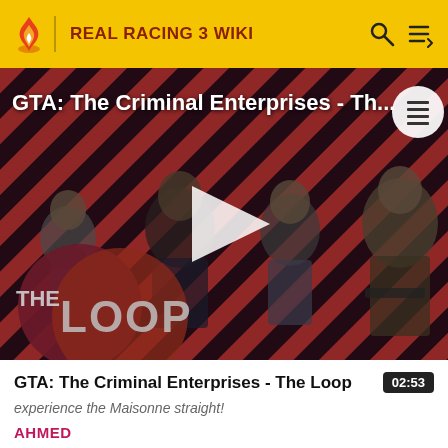REAL RACING 3 WIKI
[Figure (screenshot): GTA: The Criminal Enterprises - The Loop video thumbnail with diagonal red and dark stripes background, four game characters in center, The Loop logo bottom-left, play button in center]
GTA: The Criminal Enterprises - The Loop
experience the Maisonne straight!
AHMED